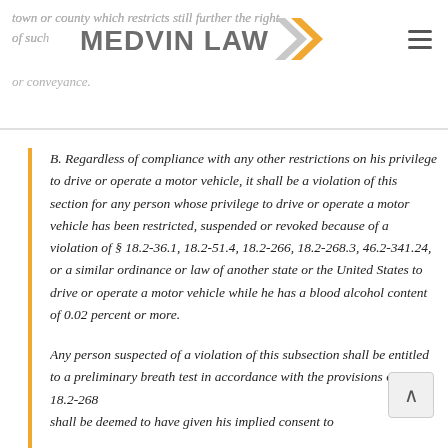town or county which restricts still further the right of such [vehicle or motorized] vehicle or conveyance.
B. Regardless of compliance with any other restrictions on his privilege to drive or operate a motor vehicle, it shall be a violation of this section for any person whose privilege to drive or operate a motor vehicle has been restricted, suspended or revoked because of a violation of § 18.2-36.1, 18.2-51.4, 18.2-266, 18.2-268.3, 46.2-341.24, or a similar ordinance or law of another state or the United States to drive or operate a motor vehicle while he has a blood alcohol content of 0.02 percent or more.
Any person suspected of a violation of this subsection shall be entitled to a preliminary breath test in accordance with the provisions of § 18.2-267 shall be deemed to have given his implied consent to